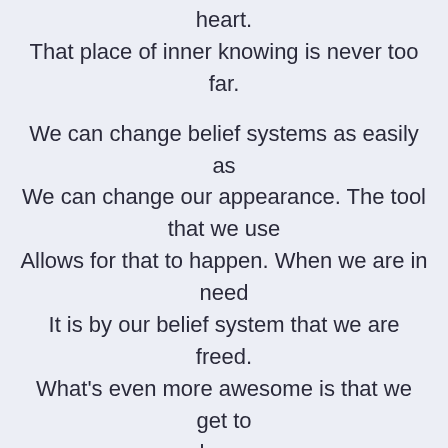heart.
That place of inner knowing is never too far.

We can change belief systems as easily as
We can change our appearance. The tool
that we use
Allows for that to happen. When we are in
need
It is by our belief system that we are freed.
What's even more awesome is that we get to
choose
How much weight on our living that each
moment has.

Whatever we're attracted to, we are because
It works well at the moment, but ultimately,
You come to know that you're the one